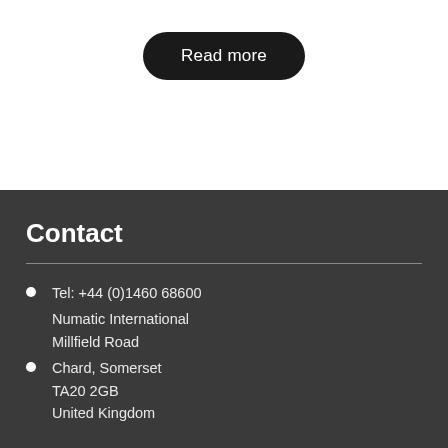Read more
Contact
Tel: +44 (0)1460 68600
Numatic International
Millfield Road
Chard, Somerset
TA20 2GB
United Kingdom